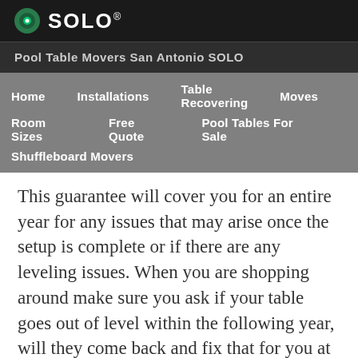[Figure (logo): SOLO company logo with green circular icon and white SOLO text on dark background]
Pool Table Movers San Antonio SOLO
Home
Installations
Table Recovering
Moves
Room Sizes
Free Quote
Pool Tables For Sale
Shuffleboard Movers
This guarantee will cover you for an entire year for any issues that may arise once the setup is complete or if there are any leveling issues. When you are shopping around make sure you ask if your table goes out of level within the following year, will they come back and fix that for you at completely no charge. We offer 7 days a week customer support, expert pool table services,